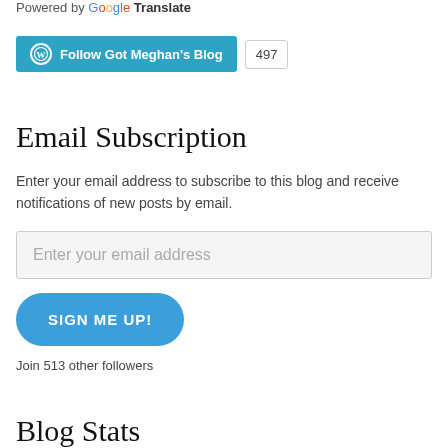Powered by Google Translate
[Figure (screenshot): Follow Got Meghan's Blog button with WordPress logo and follower count badge showing 497]
Email Subscription
Enter your email address to subscribe to this blog and receive notifications of new posts by email.
[Figure (screenshot): Email input field with placeholder 'Enter your email address']
[Figure (screenshot): SIGN ME UP! button in blue with rounded corners]
Join 513 other followers
Blog Stats